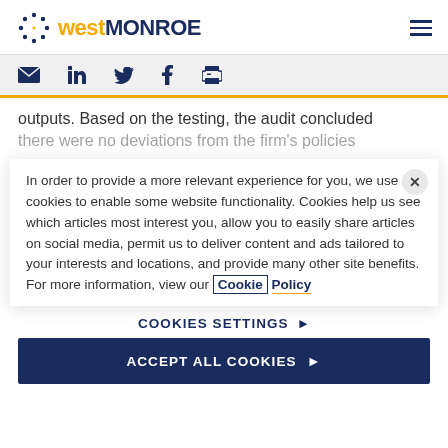west MONROE
outputs. Based on the testing, the audit concluded there were no deviations from the firm's policies
In order to provide a more relevant experience for you, we use cookies to enable some website functionality. Cookies help us see which articles most interest you, allow you to easily share articles on social media, permit us to deliver content and ads tailored to your interests and locations, and provide many other site benefits. For more information, view our Cookie Policy
COOKIES SETTINGS
ACCEPT ALL COOKIES